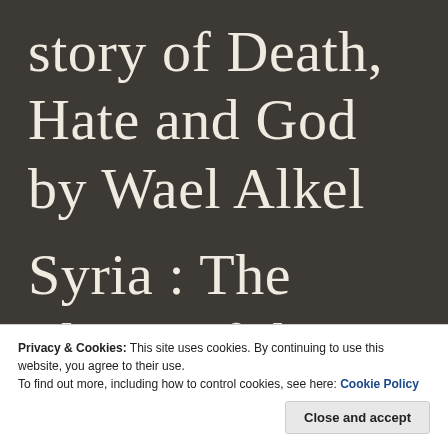story of Death, Hate and God by Wael Alkel Syria : The Planet of the Daleks – A
Privacy & Cookies: This site uses cookies. By continuing to use this website, you agree to their use.
To find out more, including how to control cookies, see here: Cookie Policy
Close and accept